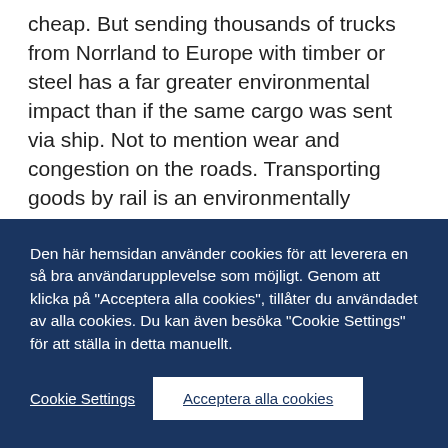cheap. But sending thousands of trucks from Norrland to Europe with timber or steel has a far greater environmental impact than if the same cargo was sent via ship. Not to mention wear and congestion on the roads. Transporting goods by rail is an environmentally friendly alternative if electricity for the railways comes from fossil-free sources. However, the railways are already heavily burdened. In order to meet demand with increased freight transport by rail, major investments would have to be made in new railway
Den här hemsidan använder cookies för att leverera en så bra användarupplevelse som möjligt. Genom att klicka på "Acceptera alla cookies", tillåter du användadet av alla cookies. Du kan även besöka "Cookie Settings" för att ställa in detta manuellt.
Cookie Settings
Acceptera alla cookies